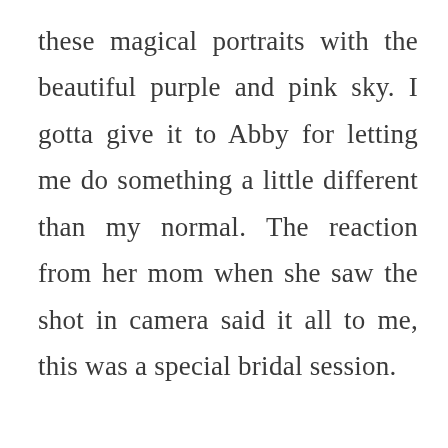these magical portraits with the beautiful purple and pink sky. I gotta give it to Abby for letting me do something a little different than my normal. The reaction from her mom when she saw the shot in camera said it all to me, this was a special bridal session.